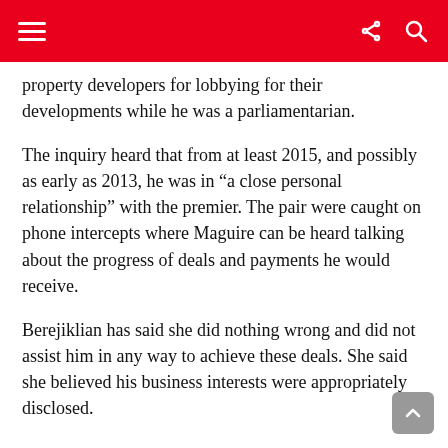property developers for lobbying for their developments while he was a parliamentarian.
The inquiry heard that from at least 2015, and possibly as early as 2013, he was in “a close personal relationship” with the premier. The pair were caught on phone intercepts where Maguire can be heard talking about the progress of deals and payments he would receive.
Berejiklian has said she did nothing wrong and did not assist him in any way to achieve these deals. She said she believed his business interests were appropriately disclosed.